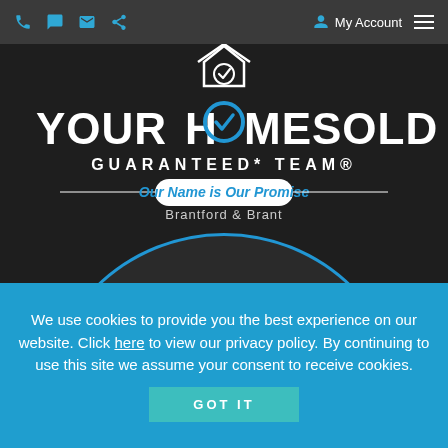My Account
[Figure (logo): YourHomeSold Guaranteed Team logo with house icon, tagline 'Our Name is Our Promise', location 'Brantford & Brant', on dark background with blue circle portrait area]
We use cookies to provide you the best experience on our website. Click here to view our privacy policy. By continuing to use this site we assume your consent to receive cookies.
GOT IT